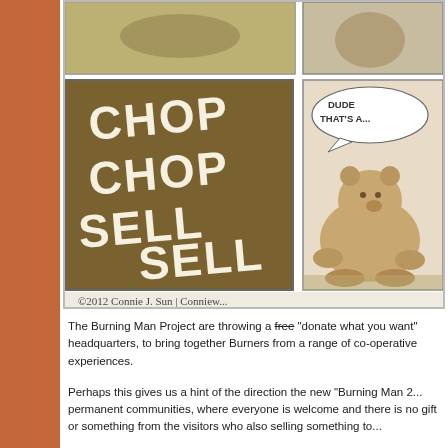[Figure (illustration): A comic strip illustration cropped to show two panels. Left panel: brown background with hand-lettered white text reading 'CHOP CHOP SELL SELL'. Right panel: a bear sitting with a speech bubble reading 'DUDE THAT'S A...'. Above panels are partial animal illustrations. Copyright line at bottom: '©2012 Connie J. Sun | Conniew...']
The Burning Man Project are throwing a free (strikethrough) "donate what you want" headquarters, to bring together Burners from a range of co-operative experiences.
Perhaps this gives us a hint of the direction the new "Burning Man 2... permanent communities, where everyone is welcome and there is no... gift or something from the visitors who also selling something to...